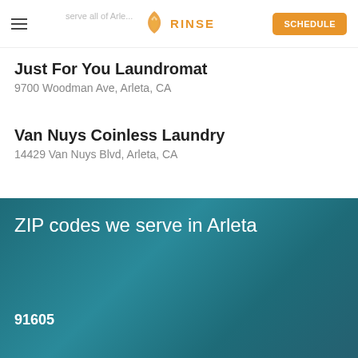RINSE — SCHEDULE
Just For You Laundromat
9700 Woodman Ave, Arleta, CA
Van Nuys Coinless Laundry
14429 Van Nuys Blvd, Arleta, CA
ZIP codes we serve in Arleta
91605